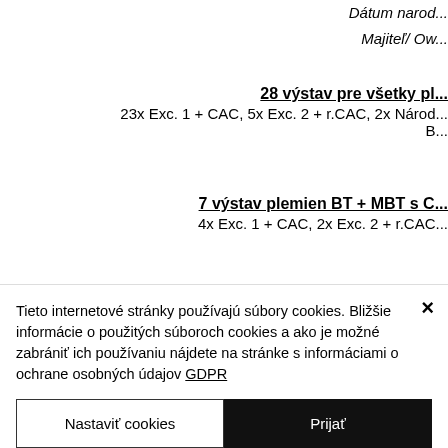Dátum naro...
Majiteľ/ Ow...
28 výstav pre všetky pl...
23x Exc. 1 + CAC, 5x Exc. 2 + r.CAC, 2x Národ...
B...
7 výstav plemien BT + MBT s C...
4x Exc. 1 + CAC, 2x Exc. 2 + r.CAC...
Tieto internetové stránky používajú súbory cookies. Bližšie informácie o použitých súboroch cookies a ako je možné zabrániť ich používaniu nájdete na stránke s informáciami o ochrane osobných údajov GDPR
Nastaviť cookies
Prijať